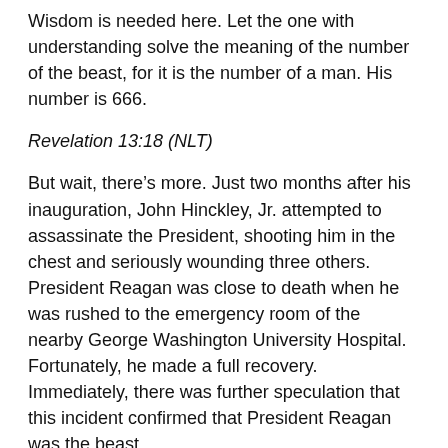Wisdom is needed here. Let the one with understanding solve the meaning of the number of the beast, for it is the number of a man. His number is 666.
Revelation 13:18 (NLT)
But wait, there’s more. Just two months after his inauguration, John Hinckley, Jr. attempted to assassinate the President, shooting him in the chest and seriously wounding three others. President Reagan was close to death when he was rushed to the emergency room of the nearby George Washington University Hospital. Fortunately, he made a full recovery. Immediately, there was further speculation that this incident confirmed that President Reagan was the beast.
I saw that one of the heads of the beast seemed wounded beyond recovery—but the fatal wound was healed! The whole world marveled at this miracle and gave allegiance to the